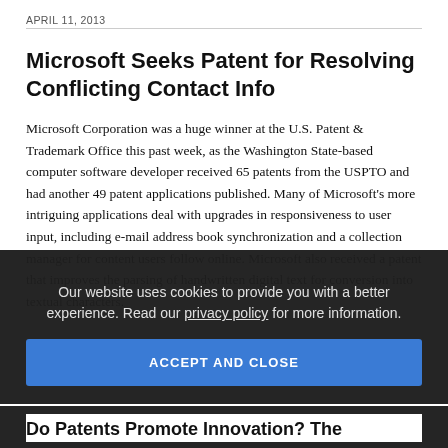APRIL 11, 2013
Microsoft Seeks Patent for Resolving Conflicting Contact Info
Microsoft Corporation was a huge winner at the U.S. Patent & Trademark Office this past week, as the Washington State-based computer software developer received 65 patents from the USPTO and had another 49 patent applications published. Many of Microsoft's more intriguing applications deal with upgrades in responsiveness to user input, including e-mail address book synchronization and a collection manager for content users follow online. Microsoft also received a patent that improves the parsing of handwritten digital text for conversion into textual characters.
Our website uses cookies to provide you with a better experience. Read our privacy policy for more information.
ACCEPT AND CLOSE
Do Patents Promote Innovation? The